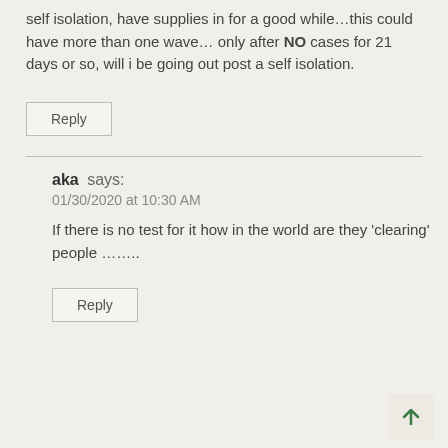self isolation, have supplies in for a good while…this could have more than one wave… only after NO cases for 21 days or so, will i be going out post a self isolation.
Reply
aka says:
01/30/2020 at 10:30 AM
If there is no test for it how in the world are they 'clearing' people ……..
Reply